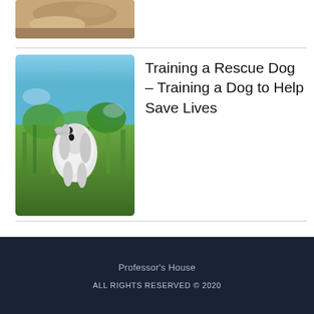[Figure (photo): Partial view of an animal, cropped at top of page]
[Figure (photo): A black and white English Setter dog running through a wetland with green grass and blue sky background]
Training a Rescue Dog – Training a Dog to Help Save Lives
Professor's House
ALL RIGHTS RESERVED © 2020